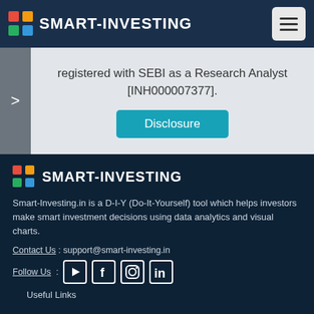SMART-INVESTING
registered with SEBI as a Research Analyst [INH000007377].
Disclosure
[Figure (logo): SMART-INVESTING logo with colored grid squares and brand name in footer]
Smart-Investing.in is a D-I-Y (Do-It-Yourself) tool which helps investors make smart investment decisions using data analytics and visual charts.
Contact Us : support@smart-investing.in
Follow Us : [YouTube] [Facebook] [Instagram] [LinkedIn]
Useful Links